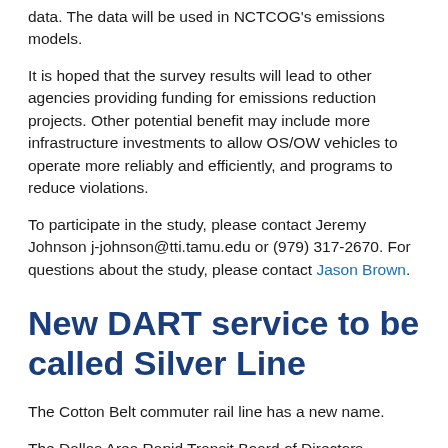data. The data will be used in NCTCOG's emissions models.
It is hoped that the survey results will lead to other agencies providing funding for emissions reduction projects. Other potential benefit may include more infrastructure investments to allow OS/OW vehicles to operate more reliably and efficiently, and programs to reduce violations.
To participate in the study, please contact Jeremy Johnson j-johnson@tti.tamu.edu or (979) 317-2670. For questions about the study, please contact Jason Brown.
New DART service to be called Silver Line
The Cotton Belt commuter rail line has a new name.
The Dallas Area Rapid Transit Board of Directors approved a resolution in June to name future service running from Dallas Fort Worth International Airport to Plano the Silver